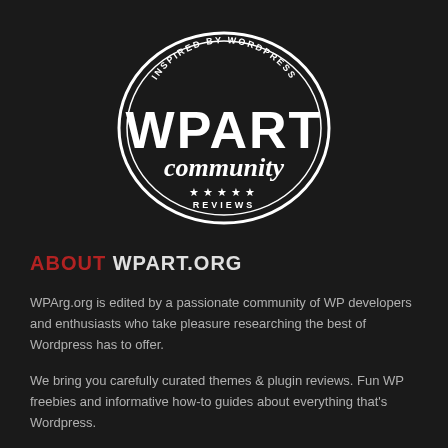[Figure (logo): WPArt Community badge/logo: oval black badge with double-line border, text 'INSPIRED BY WORDPRESS' arched at top, large bold 'WPART' text, italic script 'community' below, five stars and 'REVIEWS' at bottom]
ABOUT WPART.ORG
WPArg.org is edited by a passionate community of WP developers and enthusiasts who take pleasure researching the best of Wordpress has to offer.
We bring you carefully curated themes & plugin reviews. Fun WP freebies and informative how-to guides about everything that's Wordpress.